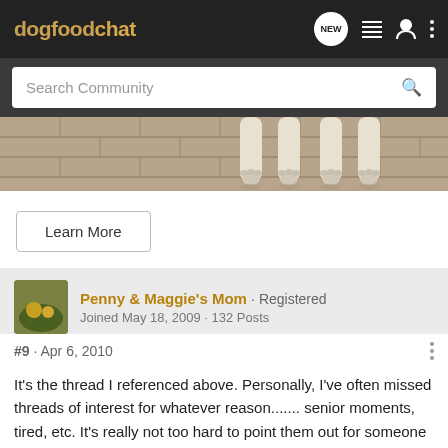dogfoodchat
Search Community
[Figure (photo): Close-up photo of dog paws on a brick/tile surface]
Learn More
Penny & Maggie's Mom · Registered
Joined May 18, 2009 · 132 Posts
#9 · Apr 6, 2010
It's the thread I referenced above. Personally, I've often missed threads of interest for whatever reason....... senior moments, tired, etc. It's really not too hard to point them out for someone who is asking.